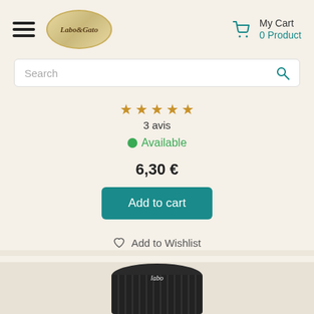Labo&Gato — My Cart 0 Product
Search
3 avis
Available
6,30 €
Add to cart
Add to Wishlist
[Figure (photo): Bottom portion of a dark product container (lid of a jar or bottle), partially visible at the bottom of the page]